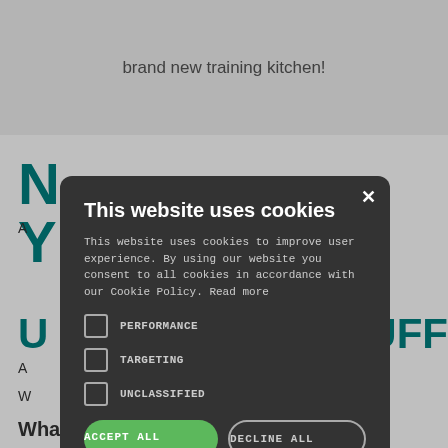brand new training kitchen!
[Figure (screenshot): Cookie consent modal overlay on a website. Dark rounded modal with title 'This website uses cookies', body text about cookie policy, three unchecked checkboxes (PERFORMANCE, TARGETING, UNCLASSIFIED), an ACCEPT ALL green button, a DECLINE ALL outlined button, and a SHOW DETAILS link with gear icon. Background shows teal text headings and body text of the underlying webpage.]
This website uses cookies
This website uses cookies to improve user experience. By using our website you consent to all cookies in accordance with our Cookie Policy. Read more
PERFORMANCE
TARGETING
UNCLASSIFIED
ACCEPT ALL
DECLINE ALL
SHOW DETAILS